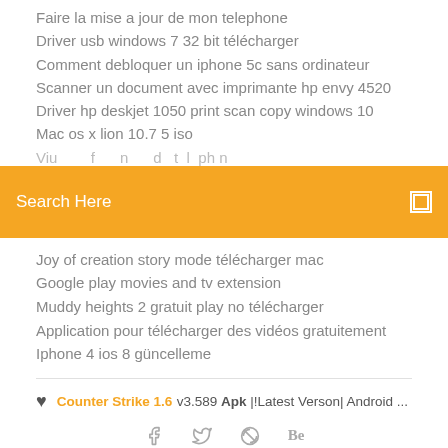Faire la mise a jour de mon telephone
Driver usb windows 7 32 bit télécharger
Comment debloquer un iphone 5c sans ordinateur
Scanner un document avec imprimante hp envy 4520
Driver hp deskjet 1050 print scan copy windows 10
Mac os x lion 10.7 5 iso
(partial line cut off)
[Figure (screenshot): Orange search bar with 'Search Here' placeholder text and a small square icon on the right]
Joy of creation story mode télécharger mac
Google play movies and tv extension
Muddy heights 2 gratuit play no télécharger
Application pour télécharger des vidéos gratuitement
Iphone 4 ios 8 güncelleme
Counter Strike 1.6 v3.589 Apk [!Latest Verson] Android ...
[Figure (infographic): Social media icons: Facebook, Twitter, Dribbble, Behance]